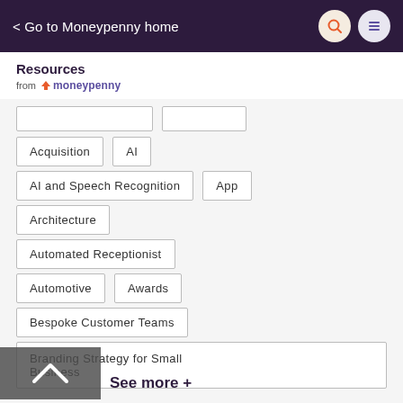< Go to Moneypenny home
Resources from moneypenny
Acquisition
AI
AI and Speech Recognition
App
Architecture
Automated Receptionist
Automotive
Awards
Bespoke Customer Teams
Branding Strategy for Small Business
See more +